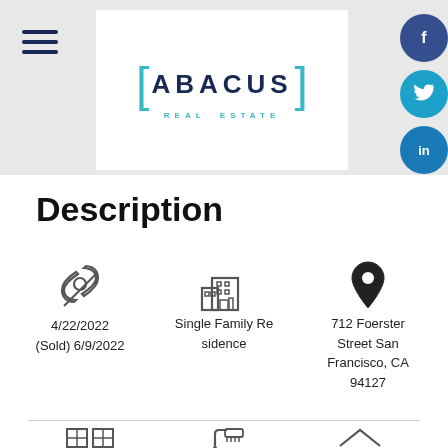[Figure (logo): Abacus Real Estate logo with teal brackets and dark blue text]
[Figure (infographic): Three social media icon circles: Facebook (dark blue), Twitter (light blue), LinkedIn (blue)]
Description
[Figure (infographic): Pin icon with date 4/22/2022 (Sold) 6/9/2022; Building icon with Single Family Residence; Location pin icon with 712 Foerster Street San Francisco, CA 94127]
[Figure (infographic): Bottom row of property detail icons (partially visible)]